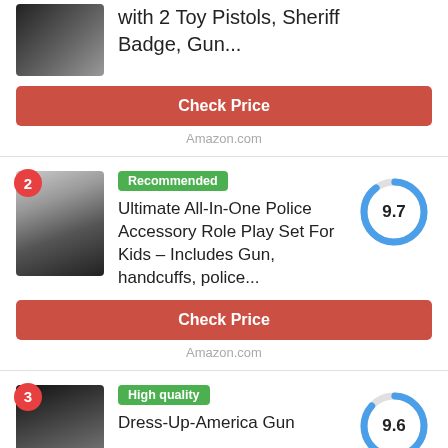with 2 Toy Pistols, Sheriff Badge, Gun...
Check Price
Amazon.com
Recommended
Ultimate All-In-One Police Accessory Role Play Set For Kids – Includes Gun, handcuffs, police...
[Figure (other): Circular score gauge showing 9.7, mostly blue arc on grey circle]
Check Price
Amazon.com
High quality
Dress-Up-America Gun
[Figure (other): Circular score gauge showing 9.6, mostly blue arc on grey circle]